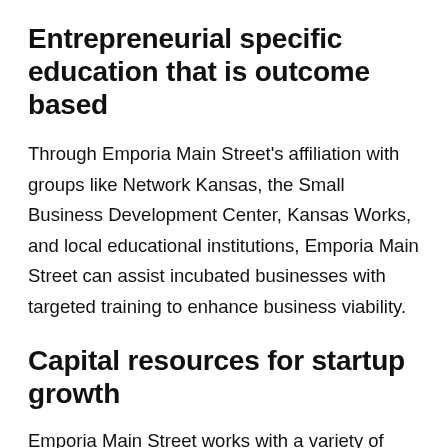Entrepreneurial specific education that is outcome based
Through Emporia Main Street's affiliation with groups like Network Kansas, the Small Business Development Center, Kansas Works, and local educational institutions, Emporia Main Street can assist incubated businesses with targeted training to enhance business viability.
Capital resources for startup growth
Emporia Main Street works with a variety of